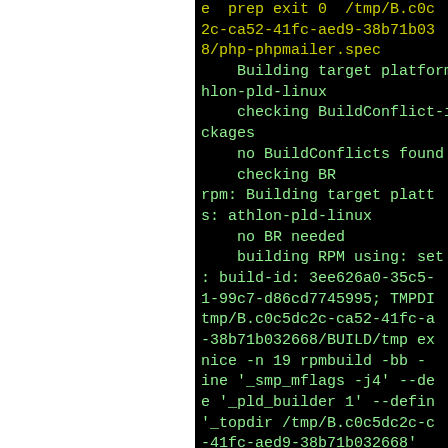[Figure (screenshot): Terminal/console output showing RPM build log output with green monospace text on black background. Content includes lines about prep exit, php-phpmailer.spec, Building target platforms, hlon-pld-linux, checking BuildConflict-ing ckages, no BuildConflicts found, checking BR, rpm: Building target platforms: athlon-pld-linux, no BR needed, building RPM using: set -e, build-id, TMPDIR, BUILD/tmp, nice -n 19 rpmbuild -bb, _smp_mflags -j4, _pld_builder 1, _topdir /tmp/B.c0c5dc2c-41fc-aed9-38b71b032668, _specdir %{_topdir}, _sourcedir %{_spec]